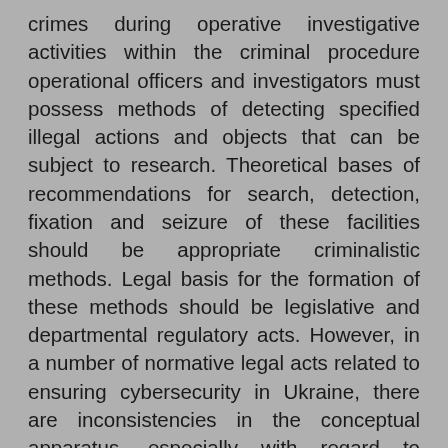crimes during operative investigative activities within the criminal procedure operational officers and investigators must possess methods of detecting specified illegal actions and objects that can be subject to research. Theoretical bases of recommendations for search, detection, fixation and seizure of these facilities should be appropriate criminalistic methods. Legal basis for the formation of these methods should be legislative and departmental regulatory acts. However, in a number of normative legal acts related to ensuring cybersecurity in Ukraine, there are inconsistencies in the conceptual apparatus, especially with regard to specific object types of forensic science, signs of unauthorized tampering in the work of information and telecommunications systems. It was found out that counteraction to cyberthreats in the field of information security in Ukraine should be based on a system integrated approach to use of all structural elements, coordination of its subject activities including forensic experts. The theoretical basis for the formation of a system